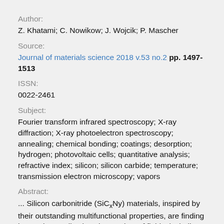Author:
Z. Khatami; C. Nowikow; J. Wojcik; P. Mascher
Source:
Journal of materials science 2018 v.53 no.2 pp. 1497-1513
ISSN:
0022-2461
Subject:
Fourier transform infrared spectroscopy; X-ray diffraction; X-ray photoelectron spectroscopy; annealing; chemical bonding; coatings; desorption; hydrogen; photovoltaic cells; quantitative analysis; refractive index; silicon; silicon carbide; temperature; transmission electron microscopy; vapors
Abstract:
... Silicon carbonitride (SiCxNy) materials, inspired by their outstanding multifunctional properties, are finding increasing applications in a variety of fields, including as next generation solar cells and hard coatings. Hydrogenated SiCxNy thin films, deposited by...